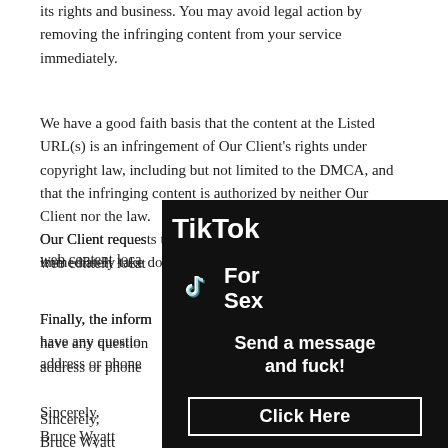its rights and business. You may avoid legal action by removing the infringing content from your service immediately.
We have a good faith basis that the content at the Listed URL(s) is an infringement of Our Client's rights under copyright law, including but not limited to the DMCA, and that the infringing content is authorized by neither Our Client nor the law.
Our Client requests that you immediately take down the web content loca[ted at the URL(s) listed above.]
Finally, the inform[ation in this notice is accurate. If you] have any questio[ns, please contact us at the following email] address or phone[number.]
Sincerely,
Bruce Wyatt
IP Law Attorney
International Anti[Piracy]
Cam Model Prote[ction]
Jagerserf 7